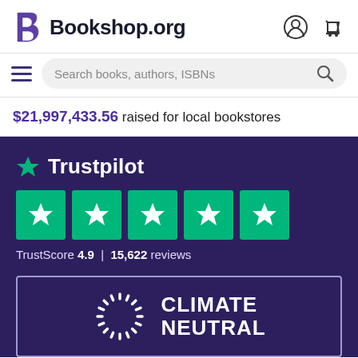[Figure (logo): Bookshop.org logo with stylized B icon and wordmark, plus user account and cart icons in header]
[Figure (screenshot): Search bar with hamburger menu icon and magnifying glass search icon, placeholder text 'Search books, authors, ISBNs']
$21,997,433.56 raised for local bookstores
[Figure (logo): Trustpilot logo with green star and wordmark 'Trustpilot', five green star rating boxes, TrustScore 4.9 | 15,622 reviews]
[Figure (logo): Climate Neutral certified badge with sunburst icon and text CLIMATE NEUTRAL]